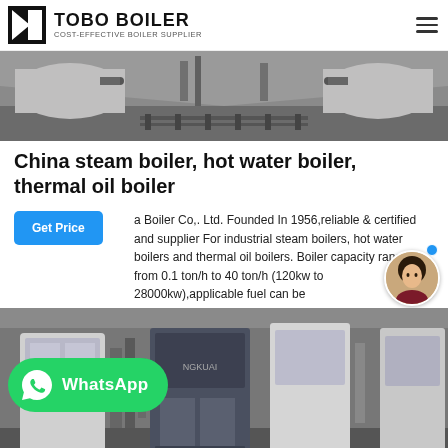TOBO BOILER — COST-EFFECTIVE BOILER SUPPLIER
[Figure (photo): Industrial boiler equipment photo showing pipes and machinery in a factory setting]
China steam boiler, hot water boiler, thermal oil boiler
a Boiler Co,. Ltd. Founded In 1956,reliable & certified and supplier For industrial steam boilers, hot water boilers and thermal oil boilers. Boiler capacity ranges from 0.1 ton/h to 40 ton/h (120kw to 28000kw),applicable fuel can be...
[Figure (photo): Industrial boiler units in a factory, showing large dark blue boiler cabinets with associated piping]